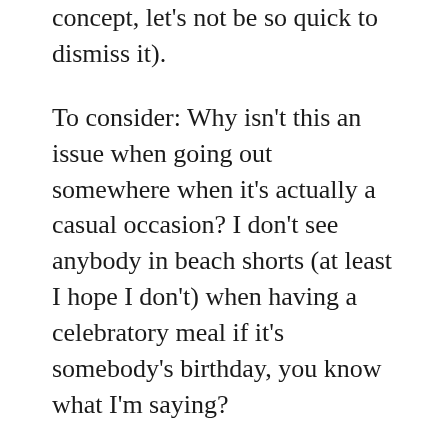concept, let's not be so quick to dismiss it).
To consider: Why isn't this an issue when going out somewhere when it's actually a casual occasion? I don't see anybody in beach shorts (at least I hope I don't) when having a celebratory meal if it's somebody's birthday, you know what I'm saying?
The reality is that we do a great disservice to ourselves, to others, and to God when we dress casually to Church. After all, the Sabbath has to do with His presence, the Shekinah Glory. As hard as